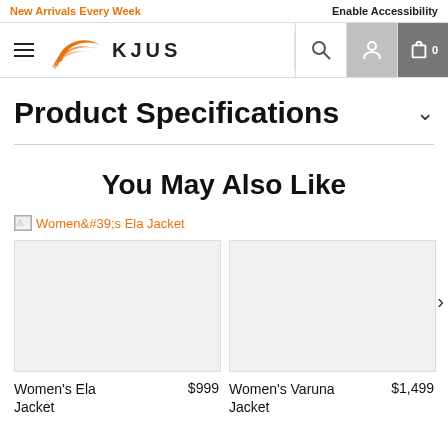New Arrivals Every Week
Enable Accessibility
[Figure (logo): KJUS brand logo with orange swoosh mark and KJUS wordmark]
Product Specifications
You May Also Like
[Figure (photo): Broken image placeholder with link: Women's Ela Jacket]
Women's Ela Jacket $999
Women's Varuna Jacket $1,499